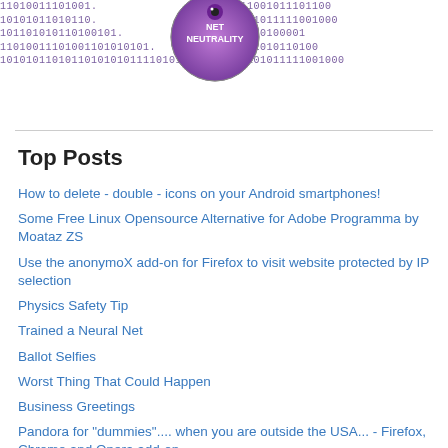[Figure (illustration): Net Neutrality circular logo/badge with binary code text background in purple/violet color]
Top Posts
How to delete - double - icons on your Android smartphones!
Some Free Linux Opensource Alternative for Adobe Programma by Moataz ZS
Use the anonymoX add-on for Firefox to visit website protected by IP selection
Physics Safety Tip
Trained a Neural Net
Ballot Selfies
Worst Thing That Could Happen
Business Greetings
Pandora for "dummies".... when you are outside the USA... - Firefox, Chrome and Opera add-on -
How to Get Rid of the Root Password on Linux